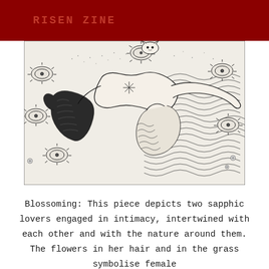RISEN ZINE
[Figure (illustration): Black and white detailed ink illustration showing two figures intertwined with nature, surrounded by flowers, wavy grass, and organic textures. The figures appear to be sapphic lovers in an intricate decorative style.]
Blossoming: This piece depicts two sapphic lovers engaged in intimacy, intertwined with each other and with the nature around them. The flowers in her hair and in the grass symbolise female